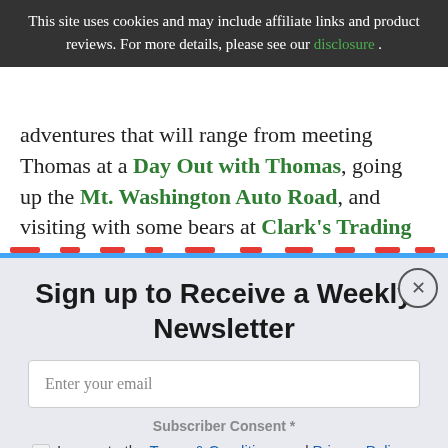This site uses cookies and may include affiliate links and product reviews. For more details, please see our disclosure .
adventures that will range from meeting Thomas at a Day Out with Thomas, going up the Mt. Washington Auto Road, and visiting with some bears at Clark's Trading Post.
Sign up to Receive a Weekly Newsletter
Enter your email
Subscriber Consent *
I agree to the Terms & Conditions and Privacy Policy
Subscribe